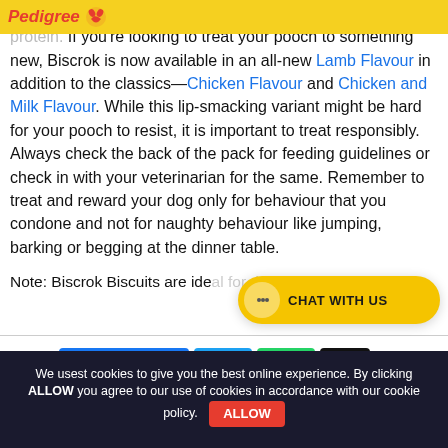Pedigree
they are bite-sized and crunchy dog biscuits that contain protein. If you're looking to treat your pooch to something new, Biscrok is now available in an all-new Lamb Flavour in addition to the classics—Chicken Flavour and Chicken and Milk Flavour. While this lip-smacking variant might be hard for your pooch to resist, it is important to treat responsibly. Always check the back of the pack for feeding guidelines or check in with your veterinarian for the same. Remember to treat and reward your dog only for behaviour that you condone and not for naughty behaviour like jumping, barking or begging at the dinner table.
Note: Biscrok Biscuits are ide... months
[Figure (screenshot): Yellow chat widget button with speech bubble icon and CHAT WITH US label]
19
[Figure (screenshot): Social share bar with Facebook Share button, Twitter button, WhatsApp button, and Amazon button]
We usest cookies to give you the best online experience. By clicking ALLOW you agree to our use of cookies in accordance with our cookie policy. ALLOW